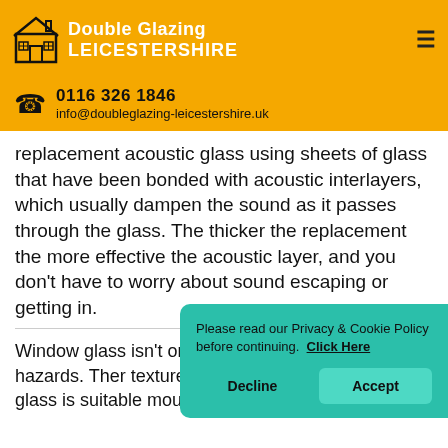Double Glazing LEICESTERSHIRE
0116 326 1846
info@doubleglazing-leicestershire.uk
replacement acoustic glass using sheets of glass that have been bonded with acoustic interlayers, which usually dampen the sound as it passes through the glass. The thicker the replacement the more effective the acoustic layer, and you don't have to worry about sound escaping or getting in.
Window glass isn't only mean various external hazards. Ther texture of glass with a choice window glass is suitable mou at the office or your home.
Please read our Privacy & Cookie Policy before continuing. Click Here
Decline
Accept